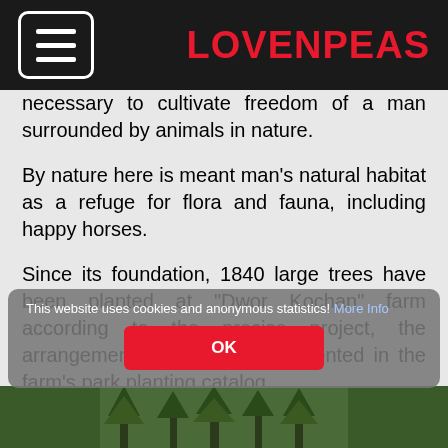LovEnPeas
necessary to cultivate freedom of a man surrounded by animals in nature.
By nature here is meant man's natural habitat as a refuge for flora and fauna, including happy horses.
Since its foundation, 1840 large trees have been planted at "Dwor Kochan" farm according to the precise project, the arrangement of which is documented in the farm's park planting catalog.
We should all uncompromisingly protect nature, especially in times of climate catastrophe, which we can oppose indeed by planting trees.
This website uses cookies and anonymous statistics! More Info
[Figure (photo): Bottom image strip showing trees or nature scene]